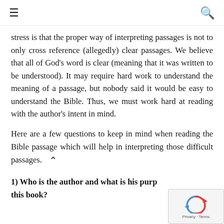≡  🔍
stress is that the proper way of interpreting passages is not to only cross reference (allegedly) clear passages. We believe that all of God's word is clear (meaning that it was written to be understood). It may require hard work to understand the meaning of a passage, but nobody said it would be easy to understand the Bible. Thus, we must work hard at reading with the author's intent in mind.
Here are a few questions to keep in mind when reading the Bible passage which will help in interpreting those difficult passages.
1) Who is the author and what is his purp[ose of writing] this book?